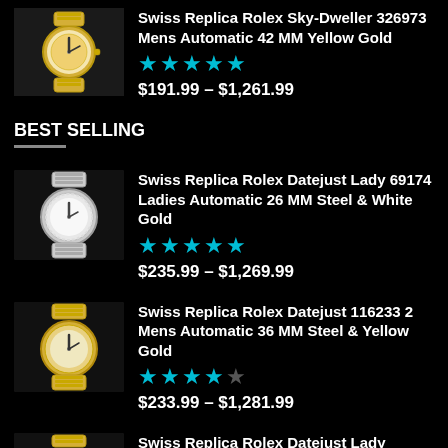[Figure (photo): Watch thumbnail - Swiss Replica Rolex Sky-Dweller 326973, yellow gold and steel bracelet]
Swiss Replica Rolex Sky-Dweller 326973 Mens Automatic 42 MM Yellow Gold
★★★★★
$191.99 – $1,261.99
BEST SELLING
[Figure (photo): Watch thumbnail - Swiss Replica Rolex Datejust Lady 69174, steel and white gold bracelet]
Swiss Replica Rolex Datejust Lady 69174 Ladies Automatic 26 MM Steel & White Gold
★★★★★
$235.99 – $1,269.99
[Figure (photo): Watch thumbnail - Swiss Replica Rolex Datejust 116233 2 Mens, steel and yellow gold bracelet]
Swiss Replica Rolex Datejust 116233 2 Mens Automatic 36 MM Steel & Yellow Gold
★★★★☆
$233.99 – $1,281.99
[Figure (photo): Watch thumbnail - Swiss Replica Rolex Datejust Lady 179179, white gold]
Swiss Replica Rolex Datejust Lady 179179 Ladies Automatic 26 MM White Gold